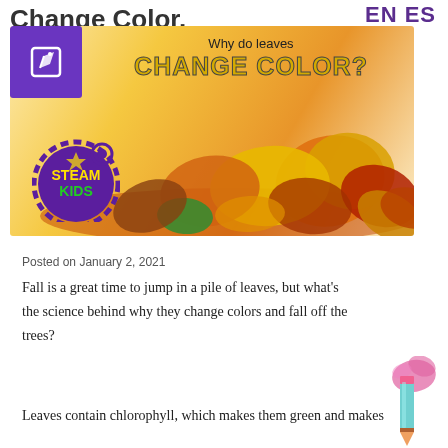EN ES
Why do leaves CHANGE COLOR?
[Figure (photo): Banner image showing a pile of autumn leaves in orange, red, yellow and green colors, with a STEAM KIDS logo badge on the left, on a warm golden gradient background. Overlaid text reads 'Why do leaves CHANGE COLOR?']
Posted on January 2, 2021
Fall is a great time to jump in a pile of leaves, but what's the science behind why they change colors and fall off the trees?
Leaves contain chlorophyll, which makes them green and makes